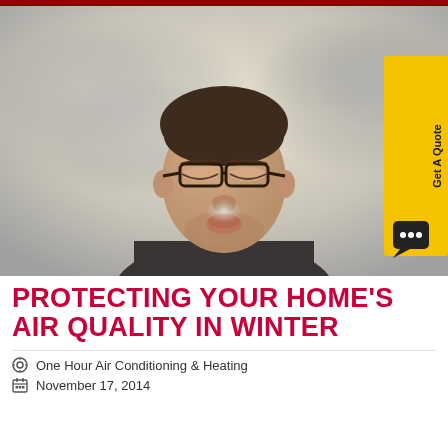[Figure (photo): Man with glasses blowing air out of his mouth, surrounded by smoke clouds on a beige/grey background. A yellow 'Get A Quote' button with a chat bubble icon is visible on the right side.]
PROTECTING YOUR HOME'S AIR QUALITY IN WINTER
One Hour Air Conditioning & Heating
November 17, 2014